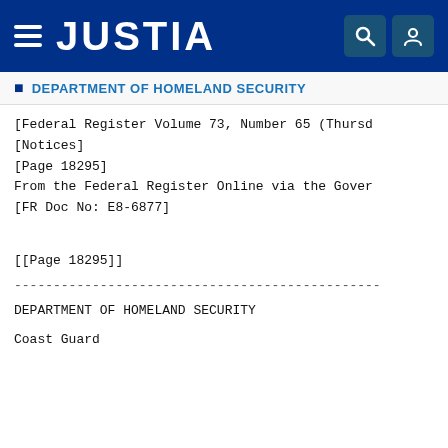JUSTIA
DEPARTMENT OF HOMELAND SECURITY
[Federal Register Volume 73, Number 65 (Thursd
[Notices]
[Page 18295]
From the Federal Register Online via the Gover
[FR Doc No: E8-6877]
[[Page 18295]]
-----------------------------------------------
DEPARTMENT OF HOMELAND SECURITY
Coast Guard